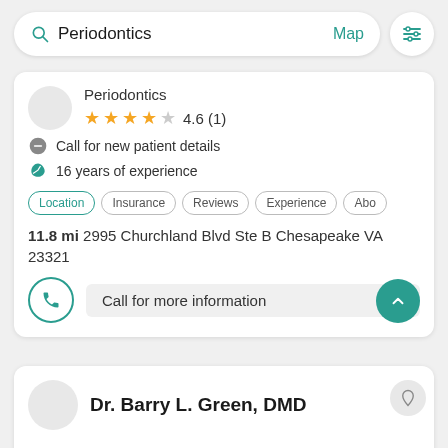Periodontics  Map
Periodontics
4.6 (1)
Call for new patient details
16 years of experience
Location  Insurance  Reviews  Experience  Abo
11.8 mi 2995 Churchland Blvd Ste B Chesapeake VA 23321
Call for more information
Dr. Barry L. Green, DMD